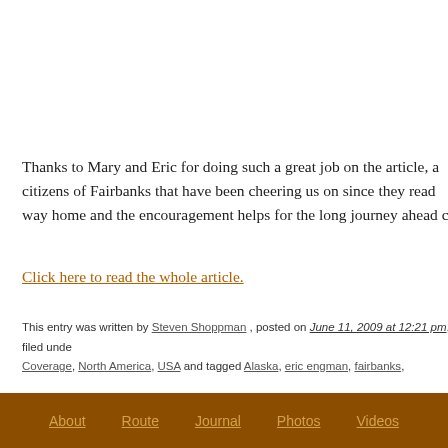Thanks to Mary and Eric for doing such a great job on the article, a citizens of Fairbanks that have been cheering us on since they read way home and the encouragement helps for the long journey ahead c
Click here to read the whole article.
This entry was written by Steven Shoppman , posted on June 11, 2009 at 12:21 pm, filed unde Coverage, North America, USA and tagged Alaska, eric engman, fairbanks, fairbanks university, Post a comment or leave a trackback: Trackback URL.
« Photo of the Week: Final Milestone Reached    Nels' Notes: Noma
About   Route   Journal   Photos   Videos